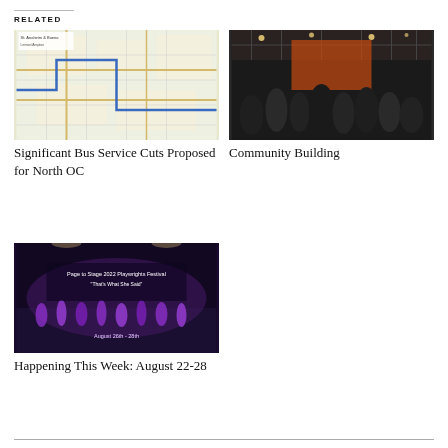RELATED
[Figure (map): Bus route map for North OC area showing street grid and transit lines]
Significant Bus Service Cuts Proposed for North OC
[Figure (photo): Crowd of people inside a community building at night]
Community Building
[Figure (photo): Theater stage with performers, showing Page to Stage 2022 Playwrights Festival 'That's What She Said', August 26-28th]
Happening This Week: August 22-28